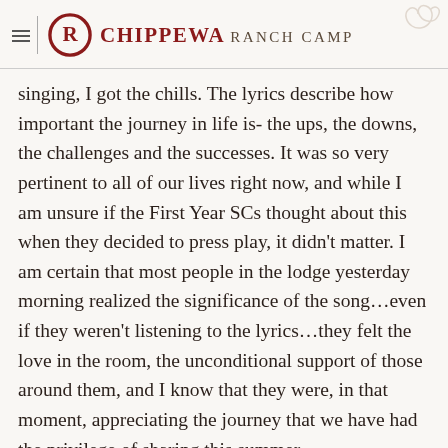CHIPPEWA RANCH CAMP
singing, I got the chills. The lyrics describe how important the journey in life is- the ups, the downs, the challenges and the successes. It was so very pertinent to all of our lives right now, and while I am unsure if the First Year SCs thought about this when they decided to press play, it didn't matter. I am certain that most people in the lodge yesterday morning realized the significance of the song…even if they weren't listening to the lyrics…they felt the love in the room, the unconditional support of those around them, and I know that they were, in that moment, appreciating the journey that we have had the privilege of sharing this summer.